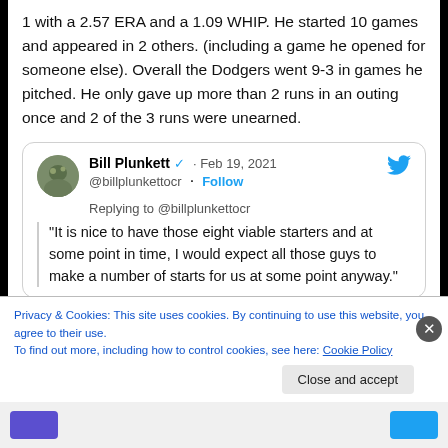1 with a 2.57 ERA and a 1.09 WHIP. He started 10 games and appeared in 2 others. (including a game he opened for someone else). Overall the Dodgers went 9-3 in games he pitched. He only gave up more than 2 runs in an outing once and 2 of the 3 runs were unearned.
[Figure (screenshot): Embedded tweet from Bill Plunkett (@billplunkettocr) dated Feb 19, 2021, replying to @billplunkettocr: 'It is nice to have those eight viable starters and at some point in time, I would expect all those guys to make a number of starts for us at some point anyway.']
Privacy & Cookies: This site uses cookies. By continuing to use this website, you agree to their use.
To find out more, including how to control cookies, see here: Cookie Policy